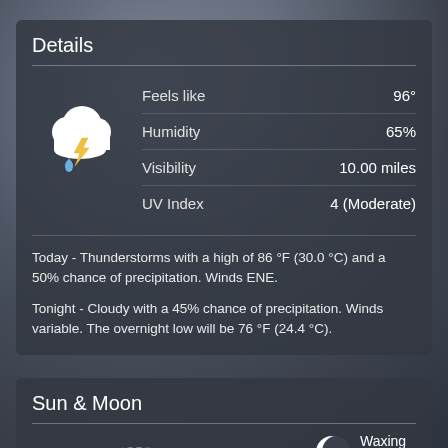Details
|  |  |
| --- | --- |
| Feels like | 96° |
| Humidity | 65% |
| Visibility | 10.00 miles |
| UV Index | 4 (Moderate) |
Today - Thunderstorms with a high of 86 °F (30.0 °C) and a 50% chance of precipitation. Winds ENE.
Tonight - Cloudy with a 45% chance of precipitation. Winds variable. The overnight low will be 76 °F (24.4 °C).
Sun & Moon
[Figure (other): Sun arc diagram showing sun position on horizon with golden arc and dashed trajectory line]
Waxing Crescent